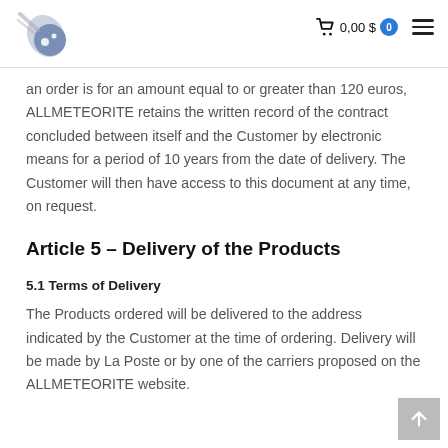ALLMETEORITE — 0,00 $ 0
an order is for an amount equal to or greater than 120 euros, ALLMETEORITE retains the written record of the contract concluded between itself and the Customer by electronic means for a period of 10 years from the date of delivery. The Customer will then have access to this document at any time, on request.
Article 5 – Delivery of the Products
5.1 Terms of Delivery
The Products ordered will be delivered to the address indicated by the Customer at the time of ordering. Delivery will be made by La Poste or by one of the carriers proposed on the ALLMETEORITE website.